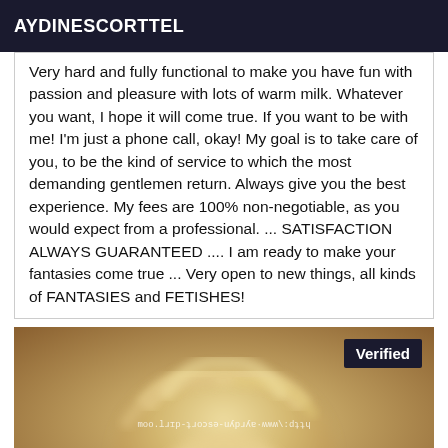AYDINESCORTTEL
Very hard and fully functional to make you have fun with passion and pleasure with lots of warm milk. Whatever you want, I hope it will come true. If you want to be with me! I'm just a phone call, okay! My goal is to take care of you, to be the kind of service to which the most demanding gentlemen return. Always give you the best experience. My fees are 100% non-negotiable, as you would expect from a professional. ... SATISFACTION ALWAYS GUARANTEED .... I am ready to make your fantasies come true ... Very open to new things, all kinds of FANTASIES and FETISHES!
[Figure (photo): A blurred close-up photo of a blonde person with a Verified badge overlay in the top right corner and a watermark text in the center reading the site URL.]